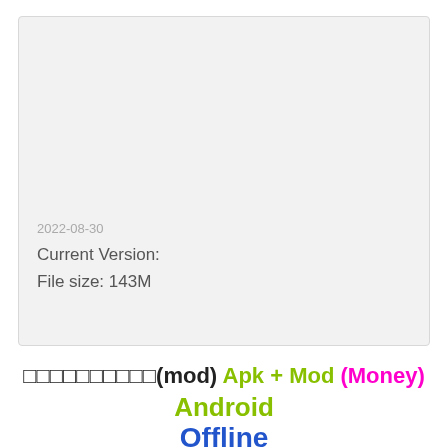[Figure (screenshot): Light gray card/panel with date '2022-08-30', 'Current Version:' and 'File size: 143M' text inside]
2022-08-30
Current Version:
File size: 143M
□□□□□□□□□□(mod) Apk + Mod (Money) Android
Offline